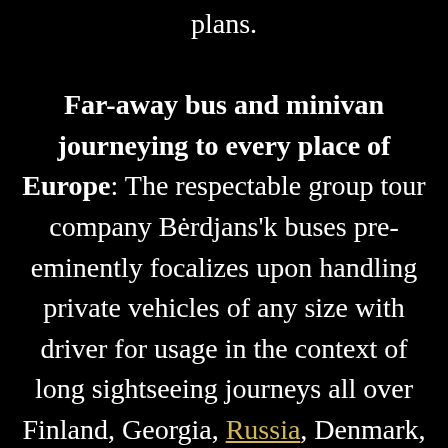plans.

Far-away bus and minivan journeying to every place of Europe: The respectable group tour company Bėrdjans'k buses pre-eminently focalizes upon handling private vehicles of any size with driver for usage in the context of long sightseeing journeys all over Finland, Georgia, Russia, Denmark, Monaco, Slovakia, Czech Republic,